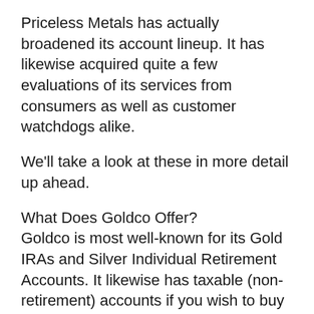Priceless Metals has actually broadened its account lineup. It has likewise acquired quite a few evaluations of its services from consumers as well as customer watchdogs alike.
We'll take a look at these in more detail up ahead.
What Does Goldco Offer?
Goldco is most well-known for its Gold IRAs and Silver Individual Retirement Accounts. It likewise has taxable (non-retirement) accounts if you wish to buy precious metals beyond a retirement account.
A 3rd as well as last choice is Cryptocurrency IRAs.